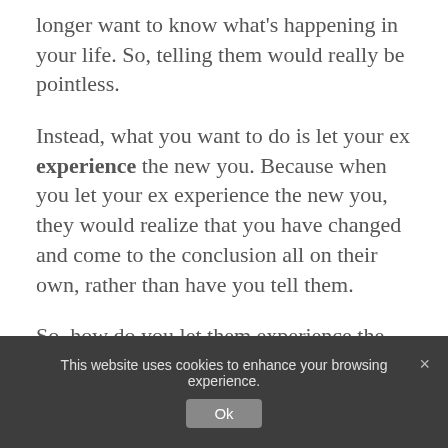longer want to know what's happening in your life. So, telling them would really be pointless.
Instead, what you want to do is let your ex experience the new you. Because when you let your ex experience the new you, they would realize that you have changed and come to the conclusion all on their own, rather than have you tell them.
So, how do you let them experience the new you? This is where the part of you being friends with
This website uses cookies to enhance your browsing experience.